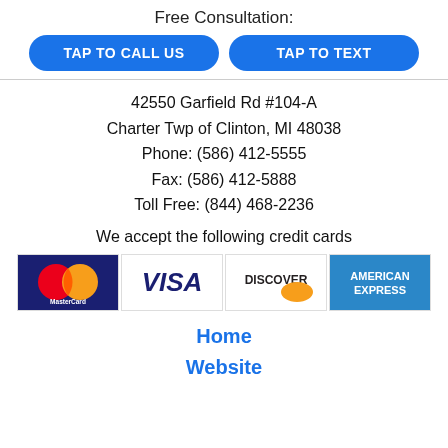Free Consultation:
TAP TO CALL US
TAP TO TEXT
42550 Garfield Rd #104-A
Charter Twp of Clinton, MI 48038
Phone: (586) 412-5555
Fax: (586) 412-5888
Toll Free: (844) 468-2236
We accept the following credit cards
[Figure (logo): Credit card logos: MasterCard, Visa, Discover, American Express]
Home
Website